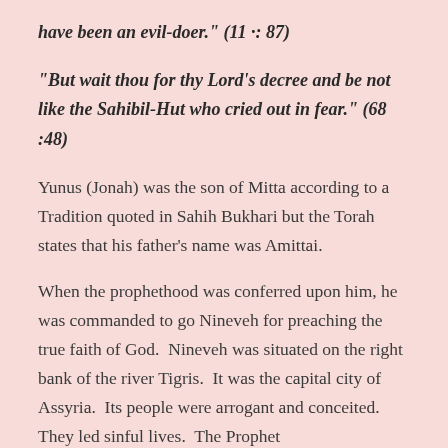have been an evil-doer." (11 .: 87)
"But wait thou for thy Lord's decree and be not like the Sahibil-Hut who cried out in fear." (68 :48)
Yunus (Jonah) was the son of Mitta according to a Tradition quoted in Sahih Bukhari but the Torah states that his father's name was Amittai.
When the prophethood was conferred upon him, he was commanded to go Nineveh for preaching the true faith of God.  Nineveh was situated on the right bank of the river Tigris.  It was the capital city of Assyria.  Its people were arrogant and conceited.  They led sinful lives.  The Prophet